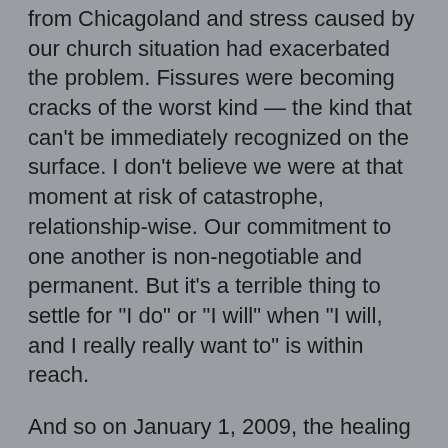from Chicagoland and stress caused by our church situation had exacerbated the problem. Fissures were becoming cracks of the worst kind — the kind that can't be immediately recognized on the surface. I don't believe we were at that moment at risk of catastrophe, relationship-wise. Our commitment to one another is non-negotiable and permanent. But it's a terrible thing to settle for "I do" or "I will" when "I will, and I really really want to" is within reach.
And so on January 1, 2009, the healing that comes from honesty, from openness, and from renewed devotion to one another and to God came to my marriage and, by extension, to America. I am having the very best year of my entire life. I feel like an entirely new man. I have immeasurably lower levels of stress, higher allotments of patience, and am finally learning to love as God wants me to love. I'm learning to trust God in ways I've never been able to before. And all those in my sphere of influence reap the benefits, too! How awesome is that?
Amy and I have faithfully attended to our devotional book every day of this year. We learned quickly that if we read and discussed immediately after putting the boys to bed (instead